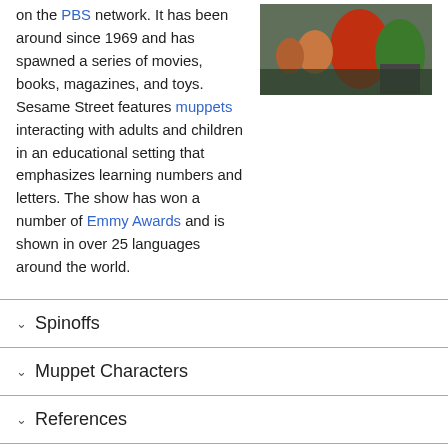on the PBS network. It has been around since 1969 and has spawned a series of movies, books, magazines, and toys. Sesame Street features muppets interacting with adults and children in an educational setting that emphasizes learning numbers and letters. The show has won a number of Emmy Awards and is shown in over 25 languages around the world.
[Figure (photo): Photo of Sesame Street muppet characters including Elmo (red) and Oscar the Grouch (green) with children]
Spinoffs
Muppet Characters
References
External Links